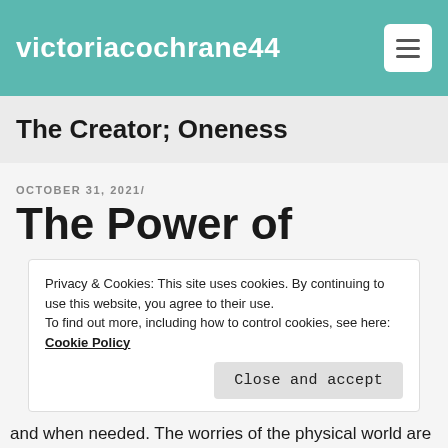victoriacochrane44
The Creator; Oneness
OCTOBER 31, 2021/
The Power of
Privacy & Cookies: This site uses cookies. By continuing to use this website, you agree to their use.
To find out more, including how to control cookies, see here: Cookie Policy
Close and accept
and when needed. The worries of the physical world are